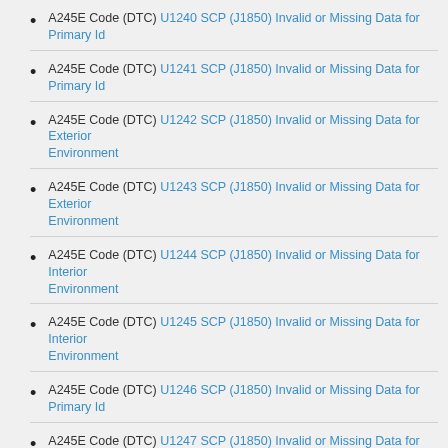A245E Code (DTC) U1240 SCP (J1850) Invalid or Missing Data for Primary Id
A245E Code (DTC) U1241 SCP (J1850) Invalid or Missing Data for Primary Id
A245E Code (DTC) U1242 SCP (J1850) Invalid or Missing Data for Exterior Environment
A245E Code (DTC) U1243 SCP (J1850) Invalid or Missing Data for Exterior Environment
A245E Code (DTC) U1244 SCP (J1850) Invalid or Missing Data for Interior Environment
A245E Code (DTC) U1245 SCP (J1850) Invalid or Missing Data for Interior Environment
A245E Code (DTC) U1246 SCP (J1850) Invalid or Missing Data for Primary Id
A245E Code (DTC) U1247 SCP (J1850) Invalid or Missing Data for Primary Id
A245E Code (DTC) U1248 SCP (J1850) Invalid or Missing Data for Time / Date
A245E Code (DTC) U1249 SCP (J1850) Invalid or Missing Data for Time / Date